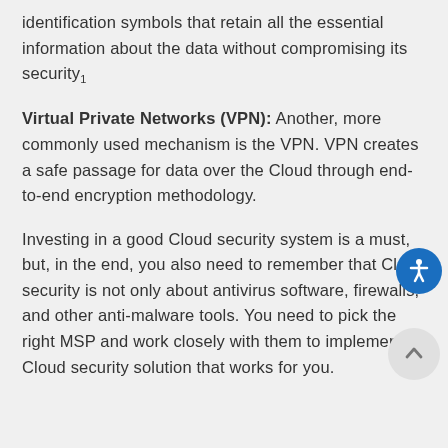identification symbols that retain all the essential information about the data without compromising its security1
Virtual Private Networks (VPN): Another, more commonly used mechanism is the VPN. VPN creates a safe passage for data over the Cloud through end-to-end encryption methodology.
Investing in a good Cloud security system is a must, but, in the end, you also need to remember that Cloud security is not only about antivirus software, firewalls, and other anti-malware tools. You need to pick the right MSP and work closely with them to implement a Cloud security solution that works for you.